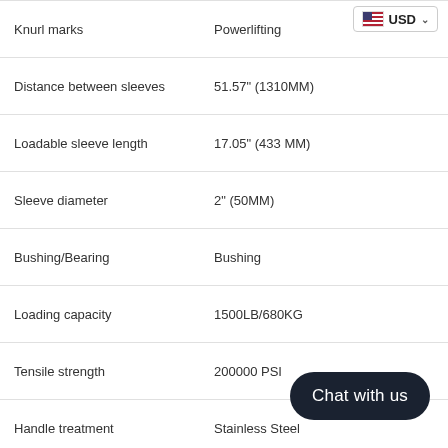| Property | Value |
| --- | --- |
| Knurl marks | Powerlifting |
| Distance between sleeves | 51.57" (1310MM) |
| Loadable sleeve length | 17.05" (433 MM) |
| Sleeve diameter | 2" (50MM) |
| Bushing/Bearing | Bushing |
| Loading capacity | 1500LB/680KG |
| Tensile strength | 200000 PSI |
| Handle treatment | Stainless Steel |
| Sleeve Coating | Hard Chrome |
| Whip | No whip |
| Spin | Mod... |
| Warranty | 5 Years |
Chat with us